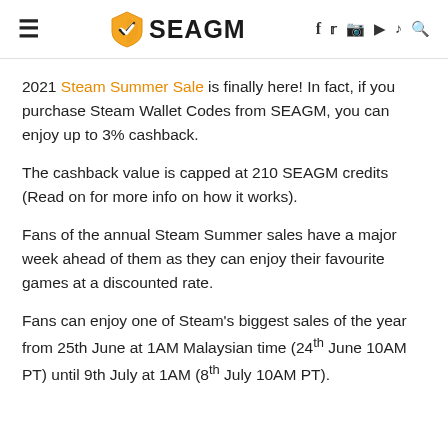SEAGM header with logo and social icons
2021 Steam Summer Sale is finally here! In fact, if you purchase Steam Wallet Codes from SEAGM, you can enjoy up to 3% cashback.
The cashback value is capped at 210 SEAGM credits (Read on for more info on how it works).
Fans of the annual Steam Summer sales have a major week ahead of them as they can enjoy their favourite games at a discounted rate.
Fans can enjoy one of Steam's biggest sales of the year from 25th June at 1AM Malaysian time (24th June 10AM PT) until 9th July at 1AM (8th July 10AM PT).